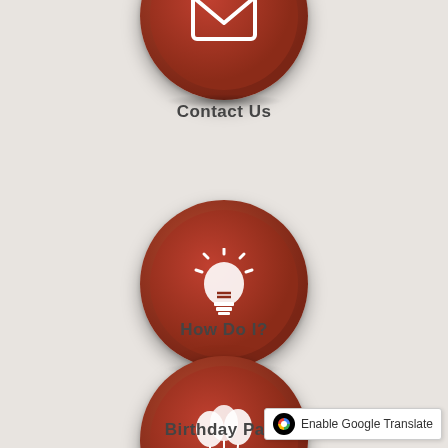[Figure (illustration): Red circular button with envelope/mail icon, partially visible at top of page]
Contact Us
[Figure (illustration): Red circular button with lightbulb icon]
How Do I?
[Figure (illustration): Red circular button with balloons icon, partially visible at bottom]
Birthday Parti
[Figure (screenshot): Google Translate enable badge with Google G icon]